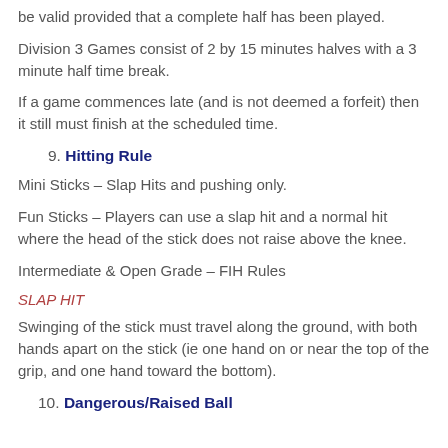be valid provided that a complete half has been played.
Division 3 Games consist of 2 by 15 minutes halves with a 3 minute half time break.
If a game commences late (and is not deemed a forfeit) then it still must finish at the scheduled time.
9. Hitting Rule
Mini Sticks – Slap Hits and pushing only.
Fun Sticks – Players can use a slap hit and a normal hit where the head of the stick does not raise above the knee.
Intermediate & Open Grade – FIH Rules
SLAP HIT
Swinging of the stick must travel along the ground, with both hands apart on the stick (ie one hand on or near the top of the grip, and one hand toward the bottom).
10. Dangerous/Raised Ball